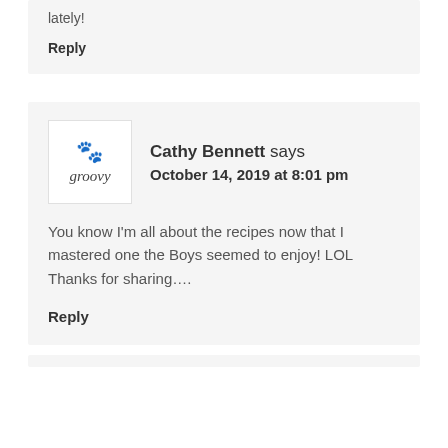lately!
Reply
Cathy Bennett says
October 14, 2019 at 8:01 pm
You know I'm all about the recipes now that I mastered one the Boys seemed to enjoy! LOL Thanks for sharing....
Reply